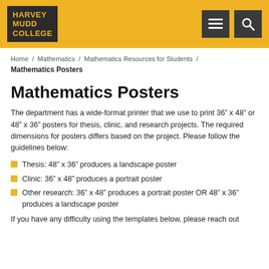HARVEY MUDD COLLEGE
Home / Mathematics / Mathematics Resources for Students / Mathematics Posters
Mathematics Posters
The department has a wide-format printer that we use to print 36” x 48” or 48” x 36” posters for thesis, clinic, and research projects. The required dimensions for posters differs based on the project. Please follow the guidelines below:
Thesis: 48” x 36” produces a landscape poster
Clinic: 36” x 48” produces a portrait poster
Other research: 36” x 48” produces a portrait poster OR 48” x 36” produces a landscape poster
If you have any difficulty using the templates below, please reach out